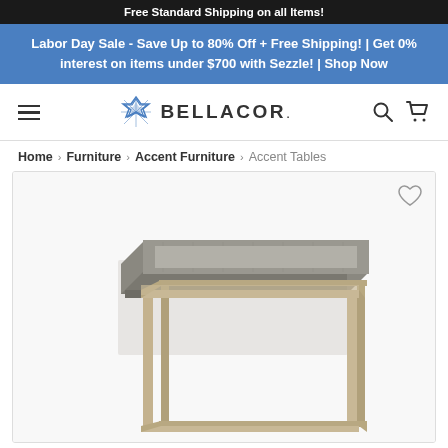Free Standard Shipping on all Items!
Labor Day Sale - Save Up to 80% Off + Free Shipping! | Get 0% interest on items under $700 with Sezzle! | Shop Now
BELLACOR.
Home > Furniture > Accent Furniture > Accent Tables
[Figure (photo): A modern accent side table with a gray shagreen-textured square tray top resting on a gold/champagne metal frame base, photographed on a white background.]